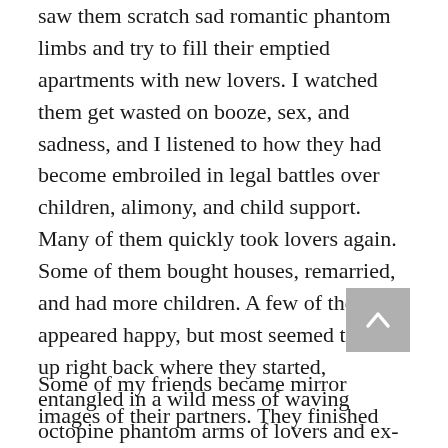saw them scratch sad romantic phantom limbs and try to fill their emptied apartments with new lovers. I watched them get wasted on booze, sex, and sadness, and I listened to how they had become embroiled in legal battles over children, alimony, and child support. Many of them quickly took lovers again. Some of them bought houses, remarried, and had more children. A few of them appeared happy, but most seemed to end up right back where they started, entangled in a wild mess of waving octopine phantom arms of lovers and ex-lovers and disappointment.
Some of my friends became mirror images of their partners. They finished